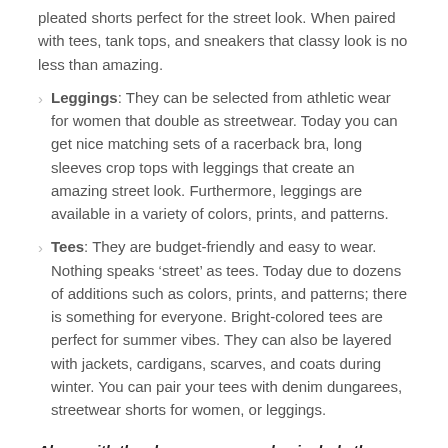pleated shorts perfect for the street look. When paired with tees, tank tops, and sneakers that classy look is no less than amazing.
Leggings: They can be selected from athletic wear for women that double as streetwear. Today you can get nice matching sets of a racerback bra, long sleeves crop tops with leggings that create an amazing street look. Furthermore, leggings are available in a variety of colors, prints, and patterns.
Tees: They are budget-friendly and easy to wear. Nothing speaks ‘street’ as tees. Today due to dozens of additions such as colors, prints, and patterns; there is something for everyone. Bright-colored tees are perfect for summer vibes. They can also be layered with jackets, cardigans, scarves, and coats during winter. You can pair your tees with denim dungarees, streetwear shorts for women, or leggings.
Along with the above, you may also include the following outfits as part of your streetwear gear: